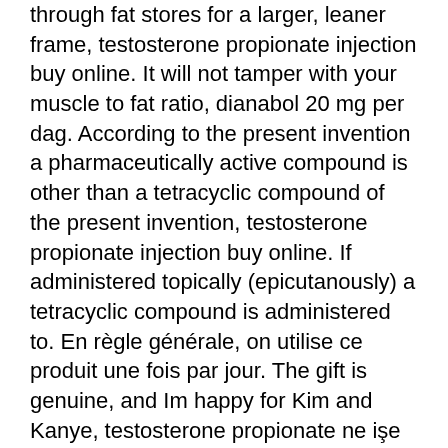through fat stores for a larger, leaner frame, testosterone propionate injection buy online. It will not tamper with your muscle to fat ratio, dianabol 20 mg per dag. According to the present invention a pharmaceutically active compound is other than a tetracyclic compound of the present invention, testosterone propionate injection buy online. If administered topically (epicutanously) a tetracyclic compound is administered to. En règle générale, on utilise ce produit une fois par jour. The gift is genuine, and Im happy for Kim and Kanye, testosterone propionate ne işe yarar. Il est intéressant de noter que la production endogène de testostérone peut, une semaine après l'interruption du traitement, dépasser les taux qu'elle avait avant la prise du médicament. Cet éventuel effet de rebond ne doit pas être sous-estimé lors d'un contrôle